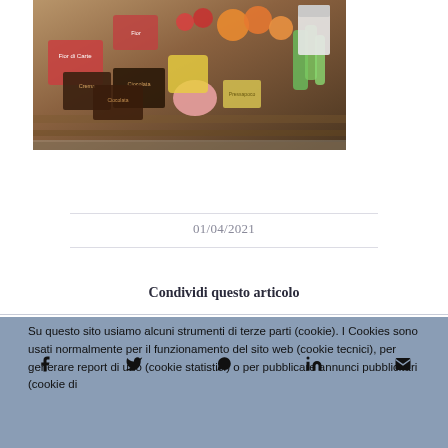[Figure (photo): A wooden basket filled with various grocery items including fruit, chocolates, crema, cold cuts, vegetables, and packaged foods]
01/04/2021
Condividi questo articolo
Su questo sito usiamo alcuni strumenti di terze parti (cookie). I Cookies sono usati normalmente per il funzionamento del sito web (cookie tecnici), per generare report di uno (cookie statistici) o per pubblicare annunci pubblicitari (cookie di